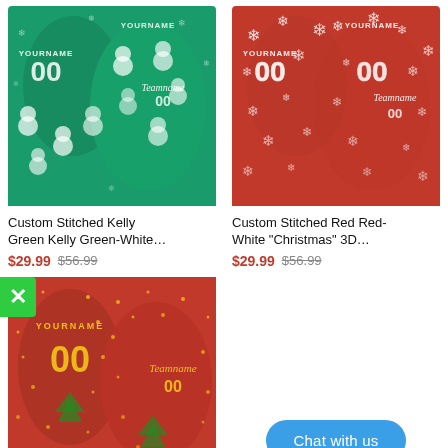[Figure (photo): Custom stitched green Christmas hoodie with snowmen pattern, shown front and back]
Custom Stitched Kelly Green Kelly Green-White…
$29.99  $56.99
[Figure (photo): Custom stitched red Christmas hoodie with snowflakes pattern, shown front and back]
Custom Stitched Red Red-White "Christmas" 3D…
$29.99  $56.99
[Figure (photo): Custom stitched red Christmas hoodie with gold YOURNAME 00 and Teamname, Christmas tree pattern]
Chat with us